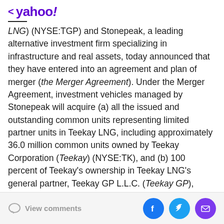< yahoo!
LNG) (NYSE:TGP) and Stonepeak, a leading alternative investment firm specializing in infrastructure and real assets, today announced that they have entered into an agreement and plan of merger (the Merger Agreement). Under the Merger Agreement, investment vehicles managed by Stonepeak will acquire (a) all the issued and outstanding common units representing limited partner units in Teekay LNG, including approximately 36.0 million common units owned by Teekay Corporation (Teekay) (NYSE:TK), and (b) 100 percent of Teekay's ownership in Teekay LNG's general partner, Teekay GP L.L.C. (Teekay GP), which includes an economic ownership interest equivalent to approximately 1.6 million Teekay LNG
View comments